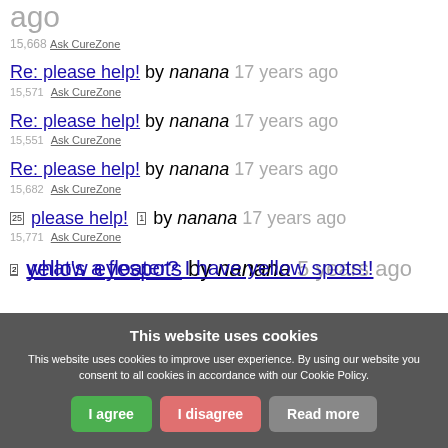Re: please help! by nanana 17 years ago  15,668  Ask CureZone
Re: please help! by nanana 17 years ago  15,571  Ask CureZone
Re: please help! by nanana 17 years ago  15,551  Ask CureZone
Re: please help! by nanana 17 years ago  15,682  Ask CureZone
[25][1] please help! by nanana 17 years ago  15,771  Ask CureZone
[2] yellow eyespots by nanana 5 years ago  1,065  Beauty Tips
[2] what's a floater? I have yellow spots!!
This website uses cookies
This website uses cookies to improve user experience. By using our website you consent to all cookies in accordance with our Cookie Policy.
I agree  I disagree  Read more